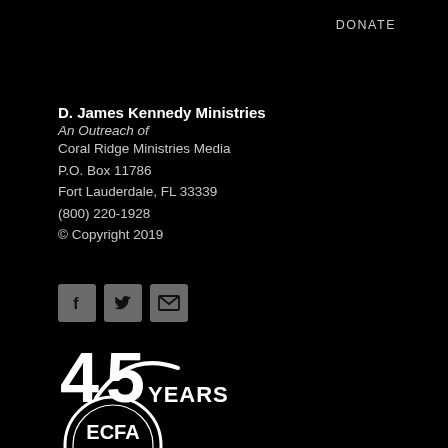DONATE
D. James Kennedy Ministries
An Outreach of
Coral Ridge Ministries Media
P.O. Box 11786
Fort Lauderdale, FL 33339
(800) 220-1928
© Copyright 2019
[Figure (infographic): Three social media icon buttons: Facebook (f), Twitter (bird), and Email (envelope) on dark gray square backgrounds]
[Figure (logo): 45 Years logo with a swoosh/arc graphic, white text on black background]
[Figure (logo): ECFA Member circular seal logo with text 'A higher standard. A higher purpose.' below it]